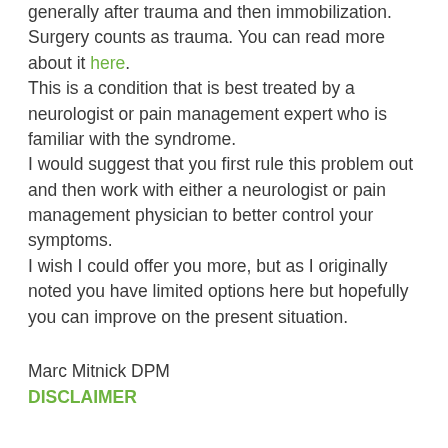generally after trauma and then immobilization. Surgery counts as trauma. You can read more about it here. This is a condition that is best treated by a neurologist or pain management expert who is familiar with the syndrome. I would suggest that you first rule this problem out and then work with either a neurologist or pain management physician to better control your symptoms. I wish I could offer you more, but as I originally noted you have limited options here but hopefully you can improve on the present situation.
Marc Mitnick DPM
DISCLAIMER